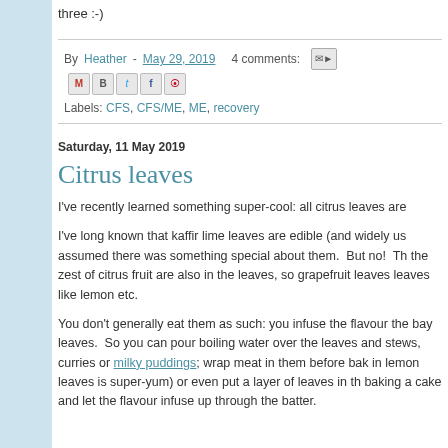three :-)
By Heather - May 29, 2019   4 comments:
Labels: CFS, CFS/ME, ME, recovery
Saturday, 11 May 2019
Citrus leaves
I've recently learned something super-cool: all citrus leaves are
I've long known that kaffir lime leaves are edible (and widely us assumed there was something special about them.  But no!  Th the zest of citrus fruit are also in the leaves, so grapefruit leaves leaves like lemon etc.
You don't generally eat them as such: you infuse the flavour the bay leaves.  So you can pour boiling water over the leaves and stews, curries or milky puddings; wrap meat in them before bak in lemon leaves is super-yum) or even put a layer of leaves in th baking a cake and let the flavour infuse up through the batter.